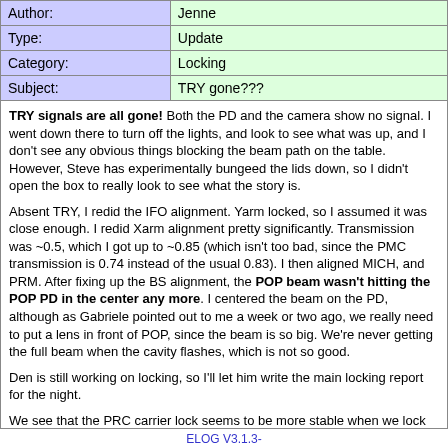| Field | Value |
| --- | --- |
| Author: | Jenne |
| Type: | Update |
| Category: | Locking |
| Subject: | TRY gone??? |
TRY signals are all gone! Both the PD and the camera show no signal. I went down there to turn off the lights, and look to see what was up, and I don't see any obvious things blocking the beam path on the table. However, Steve has experimentally bungeed the lids down, so I didn't open the box to really look to see what the story is.

Absent TRY, I redid the IFO alignment. Yarm locked, so I assumed it was close enough. I redid Xarm alignment pretty significantly. Transmission was ~0.5, which I got up to ~0.85 (which isn't too bad, since the PMC transmission is 0.74 instead of the usual 0.83). I then aligned MICH, and PRM. After fixing up the BS alignment, the POP beam wasn't hitting the POP PD in the center any more. I centered the beam on the PD, although as Gabriele pointed out to me a week or two ago, we really need to put a lens in front of POP, since the beam is so big. We're never getting the full beam when the cavity flashes, which is not so good.

Den is still working on locking, so I'll let him write the main locking report for the night.

We see that the PRC carrier lock seems to be more stable when we lock MICH with +1 for ITMY and -1 for ITMX, and PRCL with -1 for both ITMs. This indicates that we need to revisit the systematic problem with using the PRM oplev to balance the coils, since that oplev has a relatively wide opening angle. I am working on how to do this.
ELOG V3.1.3-